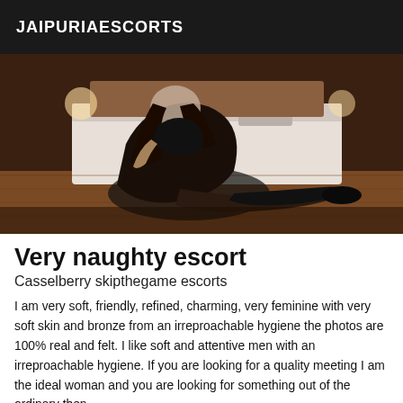JAIPURIAESCORTS
[Figure (photo): Woman posing in black lingerie on floor in front of a white sofa in a warmly lit room]
Very naughty escort
Casselberry skipthegame escorts
I am very soft, friendly, refined, charming, very feminine with very soft skin and bronze from an irreproachable hygiene the photos are 100% real and felt. I like soft and attentive men with an irreproachable hygiene. If you are looking for a quality meeting I am the ideal woman and you are looking for something out of the ordinary then